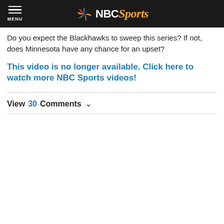NBC Sports
Do you expect the Blackhawks to sweep this series? If not, does Minnesota have any chance for an upset?
This video is no longer available. Click here to watch more NBC Sports videos!
View 30 Comments